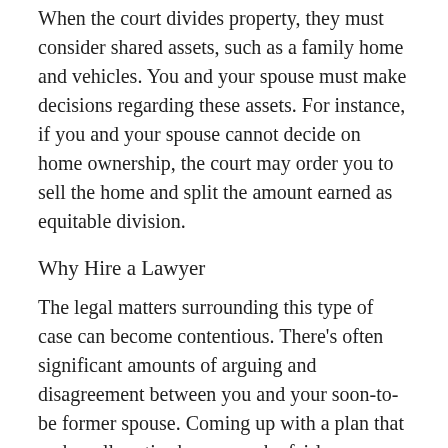When the court divides property, they must consider shared assets, such as a family home and vehicles. You and your spouse must make decisions regarding these assets. For instance, if you and your spouse cannot decide on home ownership, the court may order you to sell the home and split the amount earned as equitable division.
Why Hire a Lawyer
The legal matters surrounding this type of case can become contentious. There's often significant amounts of arguing and disagreement between you and your soon-to-be former spouse. Coming up with a plan that makes all parties happy can be fairly challenging.
The most effective thing you can do is hire legal representation who can guide you through every step of the process. Working with a dedicated advocate helps protect your rights, uncover any hidden assets, and